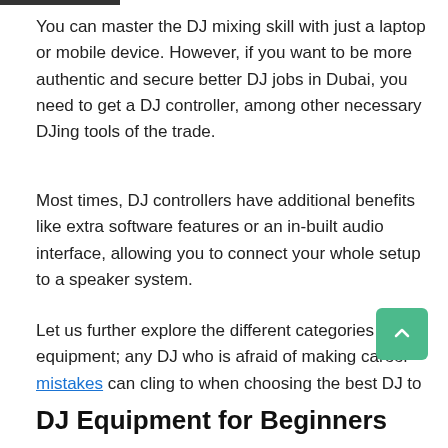You can master the DJ mixing skill with just a laptop or mobile device. However, if you want to be more authentic and secure better DJ jobs in Dubai, you need to get a DJ controller, among other necessary DJing tools of the trade.
Most times, DJ controllers have additional benefits like extra software features or an in-built audio interface, allowing you to connect your whole setup to a speaker system.
Let us further explore the different categories of the equipment; any DJ who is afraid of making career mistakes can cling to when choosing the best DJ to...
DJ Equipment for Beginners